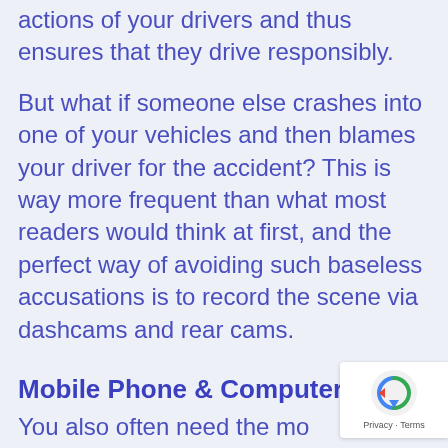actions of your drivers and thus ensures that they drive responsibly.
But what if someone else crashes into one of your vehicles and then blames your driver for the accident? This is way more frequent than what most readers would think at first, and the perfect way of avoiding such baseless accusations is to record the scene via dashcams and rear cams.
Mobile Phone & Computer
You also often need the...